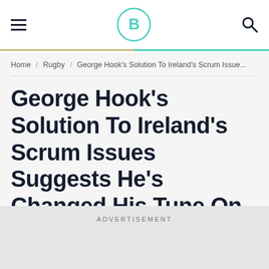≡  [B logo]  🔍
Home / Rugby / George Hook's Solution To Ireland's Scrum Issue...
George Hook's Solution To Ireland's Scrum Issues Suggests He's Changed His Tune On Foreign Players
ADVERTISEMENT